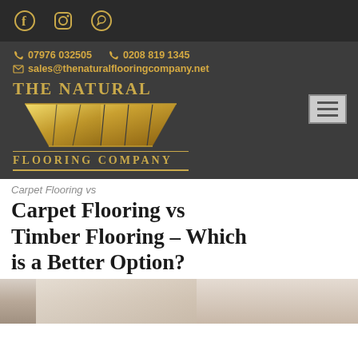Social icons: Facebook, Instagram, WhatsApp
[Figure (logo): The Natural Flooring Company logo with golden floorboard graphic, contact details: 07976 032505, 0208 819 1345, sales@thenaturalflooringcompany.net, and hamburger menu button]
Carpet Flooring vs Timber Flooring – Which is a Better Option?
[Figure (photo): Partial room image showing flooring, partially cropped at bottom of page]